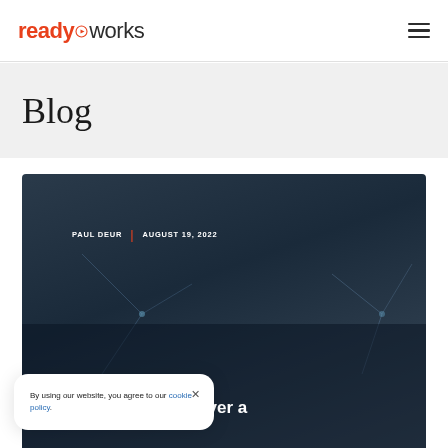readyworks (logo with navigation hamburger menu)
Blog
[Figure (photo): Dark blue-toned background image with a person's silhouette and glowing network/tech lines, overlaid with author info 'PAUL DEUR | AUGUST 19, 2022' and partial article title '8 Ways IT Can Deliver a']
By using our website, you agree to our cookie policy.